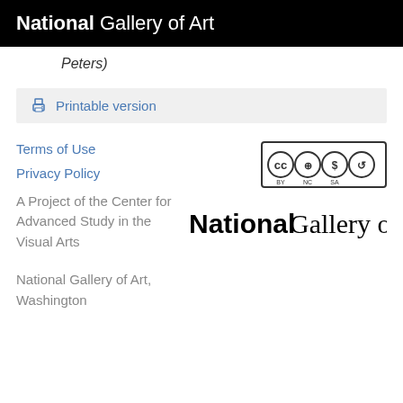National Gallery of Art
Peters)
Printable version
[Figure (logo): Creative Commons BY NC SA license badge]
Terms of Use
[Figure (logo): National Gallery of Art footer logo]
Privacy Policy
A Project of the Center for Advanced Study in the Visual Arts
National Gallery of Art, Washington